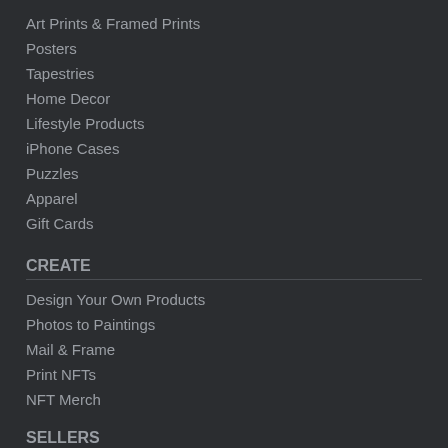Art Prints & Framed Prints
Posters
Tapestries
Home Decor
Lifestyle Products
iPhone Cases
Puzzles
Apparel
Gift Cards
CREATE
Design Your Own Products
Photos to Paintings
Mail & Frame
Print NFTs
NFT Merch
SELLERS
Take a Tour